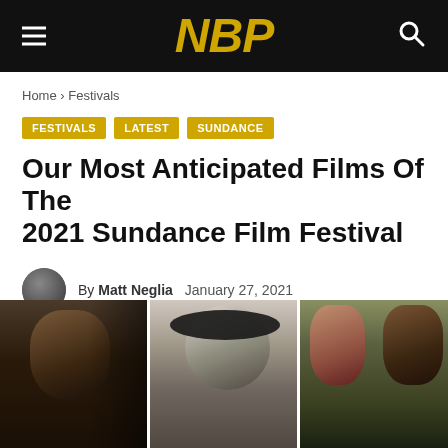NBP
Home › Festivals
FESTIVALS
LATEST
SUNDANCE
Our Most Anticipated Films Of The 2021 Sundance Film Festival
By Matt Neglia   January 27, 2021
[Figure (photo): Composite photo strip showing three film stills side by side: a dark close-up of a face on the left, a black-and-white image of a person wearing a hat in the middle, and a color image of two faces on the right.]